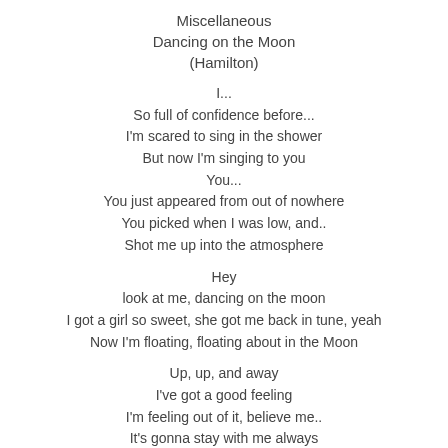Miscellaneous
Dancing on the Moon
(Hamilton)
I...
So full of confidence before...
I'm scared to sing in the shower
But now I'm singing to you
You...
You just appeared from out of nowhere
You picked when I was low, and..
Shot me up into the atmosphere
Hey
look at me, dancing on the moon
I got a girl so sweet, she got me back in tune, yeah
Now I'm floating, floating about in the Moon
Up, up, and away
I've got a good feeling
I'm feeling out of it, believe me..
It's gonna stay with me always
let's go, we'll go swimming in the starlight